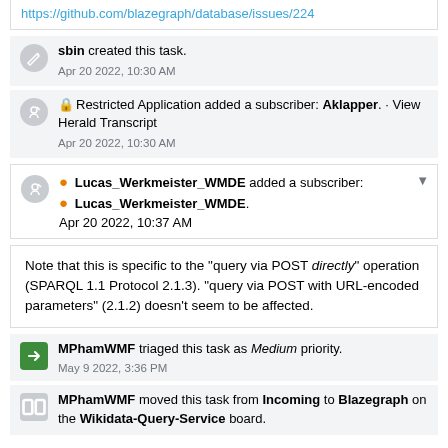https://github.com/blazegraph/database/issues/224
sbin created this task. Apr 20 2022, 10:30 AM
Restricted Application added a subscriber: Aklapper. · View Herald Transcript Apr 20 2022, 10:30 AM
Lucas_Werkmeister_WMDE added a subscriber: Lucas_Werkmeister_WMDE. Apr 20 2022, 10:37 AM
Note that this is specific to the "query via POST directly" operation (SPARQL 1.1 Protocol 2.1.3). "query via POST with URL-encoded parameters" (2.1.2) doesn't seem to be affected.
MPhamWMF triaged this task as Medium priority. May 9 2022, 3:36 PM
MPhamWMF moved this task from Incoming to Blazegraph on the Wikidata-Query-Service board.